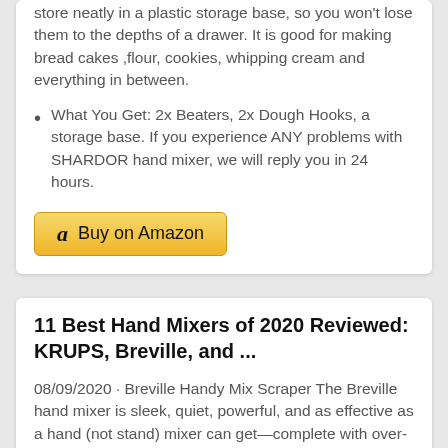store neatly in a plastic storage base, so you won't lose them to the depths of a drawer. It is good for making bread cakes ,flour, cookies, whipping cream and everything in between.
What You Get: 2x Beaters, 2x Dough Hooks, a storage base. If you experience ANY problems with SHARDOR hand mixer, we will reply you in 24 hours.
[Figure (other): Buy on Amazon button with Amazon logo]
11 Best Hand Mixers of 2020 Reviewed: KRUPS, Breville, and ...
08/09/2020 · Breville Handy Mix Scraper The Breville hand mixer is sleek, quiet, powerful, and as effective as a hand (not stand) mixer can get—complete with over-the ...